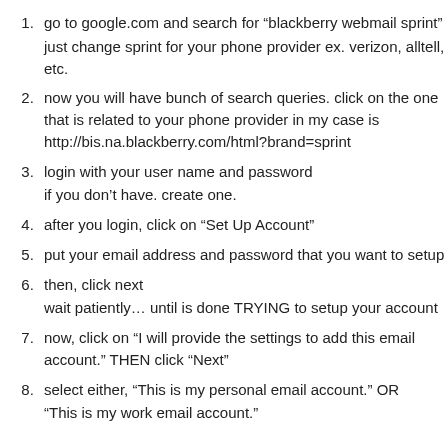go to google.com and search for “blackberry webmail sprint” just change sprint for your phone provider ex. verizon, alltell, etc.
now you will have bunch of search queries. click on the one that is related to your phone provider in my case is http://bis.na.blackberry.com/html?brand=sprint
login with your user name and password if you don’t have. create one.
after you login, click on “Set Up Account”
put your email address and password that you want to setup
then, click next wait patiently… until is done TRYING to setup your account
now, click on “I will provide the settings to add this email account.” THEN click “Next”
select either, “This is my personal email account.” OR “This is my work email account.”